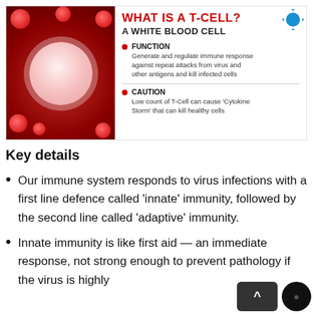[Figure (infographic): Infographic showing a T-cell (white blood cell) with a microscopy image on the left of a white blood cell surrounded by red blood cells, and text on the right explaining function and caution. Title: WHAT IS A T-CELL? A WHITE BLOOD CELL. Function: Generate and regulate immune response against repeat attacks from virus and other antigens and kill infected cells. Caution: Low count of T-Cell can cause Cytokine Storm that can kill healthy cells.]
Key details
Our immune system responds to virus infections with a first line defence called 'innate' immunity, followed by the second line called 'adaptive' immunity.
Innate immunity is like first aid — an immediate response, not strong enough to prevent pathology if the virus is highly...